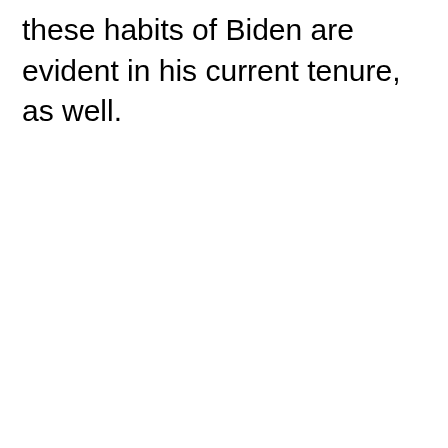these habits of Biden are evident in his current tenure, as well.